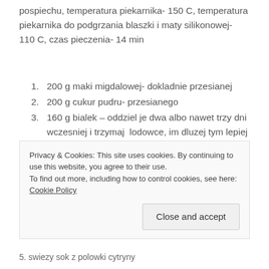pospiechu, temperatura piekarnika- 150 C, temperatura piekarnika do podgrzania blaszki i maty silikonowej- 110 C, czas pieczenia- 14 min
1. 200 g maki migdalowej- dokladnie przesianej
2. 200 g cukur pudru- przesianego
3. 160 g bialek – oddziel je dwa albo nawet trzy dni wczesniej i trzymaj lodowce, im dluzej tym lepiej
4. szczypta soli
Privacy & Cookies: This site uses cookies. By continuing to use this website, you agree to their use.
To find out more, including how to control cookies, see here: Cookie Policy
Close and accept
5. swiezy sok z polowki cytryny